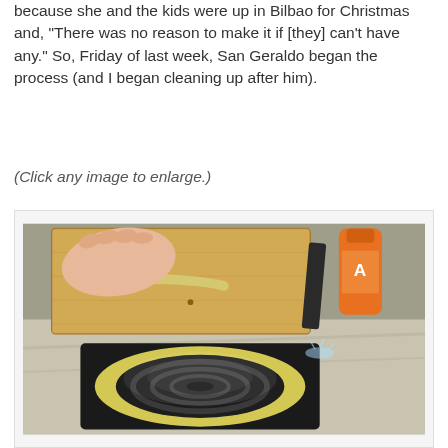because she and the kids were up in Bilbao for Christmas and, "There was no reason to make it if [they] can't have any." So, Friday of last week, San Geraldo began the process (and I began cleaning up after him).
(Click any image to enlarge.)
[Figure (photo): Photo of hands rolling dough on a floured wooden cutting board, with an orange bottle in the background. Below is a bundt/ring cake pan greased and dusted with flour, sitting on a dark baking tray on a marble countertop.]